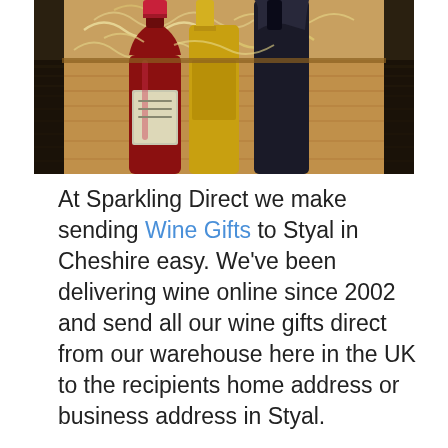[Figure (photo): Photo of wine bottles in a wooden gift box with straw packing material. One bottle has a red foil top, another has a yellow/gold top, and a dark bottle is visible at the back.]
At Sparkling Direct we make sending Wine Gifts to Styal in Cheshire easy. We've been delivering wine online since 2002 and send all our wine gifts direct from our warehouse here in the UK to the recipients home address or business address in Styal.
We offer Next day wine delivery on orders placed Monday - Thursday